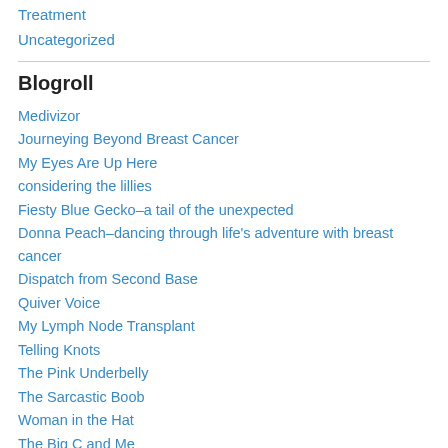Treatment
Uncategorized
Blogroll
Medivizor
Journeying Beyond Breast Cancer
My Eyes Are Up Here
considering the lillies
Fiesty Blue Gecko–a tail of the unexpected
Donna Peach–dancing through life's adventure with breast cancer
Dispatch from Second Base
Quiver Voice
My Lymph Node Transplant
Telling Knots
The Pink Underbelly
The Sarcastic Boob
Woman in the Hat
The Big C and Me